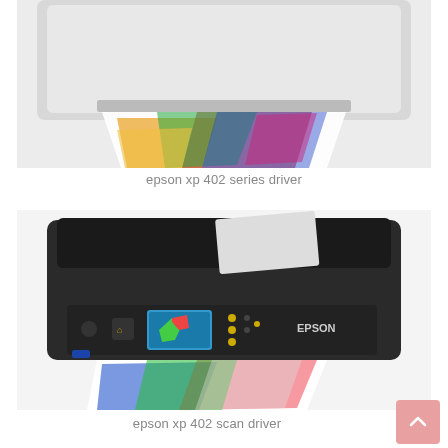[Figure (photo): Epson XP-402 series printer with colorful photo being printed, white/silver body, top view cropped]
epson xp 402 series driver
[Figure (photo): Epson XP-402 scan driver – black all-in-one inkjet printer with colorful photo printing out, small LCD display showing parrot, EPSON branding on front]
epson xp 402 scan driver
[Figure (photo): Partial view of a dark/black Epson printer, bottom of page, cropped]